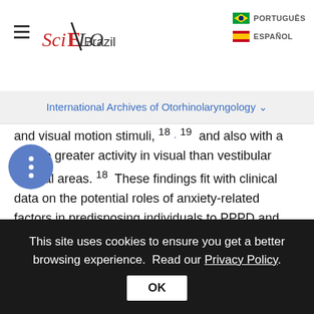SciELO Brazil | PORTUGUÊS | ESPAÑOL
International Archives of Otorhinolaryngology
and visual motion stimuli, 18 . 19 and also with a shift to greater activity in visual than vestibular cortical areas. 18 These findings fit with clinical data on the potential roles of anxiety-related factors in predisposing individuals to PPPD and inciting its development. 2 . 3
Given these findings, the first neuroimaging investigations of patients with CSD 20 and PPV 21 yielded unexpected results. Indovina et al, 20 the team that investigated the response of normal individuals to sound-evoked vestibular
This site uses cookies to ensure you get a better browsing experience. Read our Privacy Policy. OK